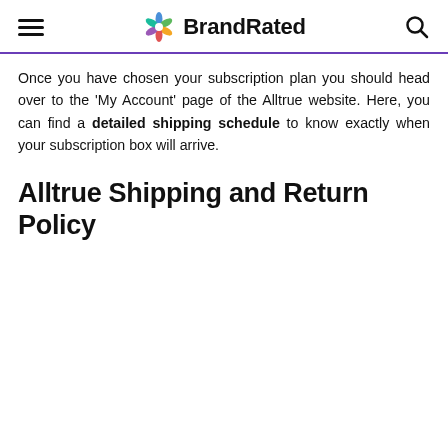BrandRated
Once you have chosen your subscription plan you should head over to the ‘My Account’ page of the Alltrue website. Here, you can find a detailed shipping schedule to know exactly when your subscription box will arrive.
Alltrue Shipping and Return Policy